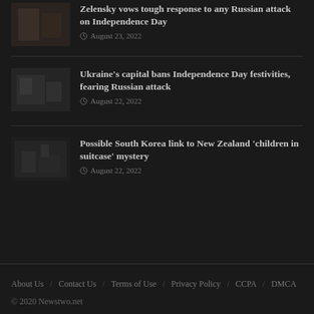[Figure (photo): Thumbnail image for article about Zelensky vows tough response]
Zelensky vows tough response to any Russian attack on Independence Day
August 23, 2022
[Figure (photo): Thumbnail image for article about Ukraine's capital banning Independence Day festivities]
Ukraine's capital bans Independence Day festivities, fearing Russian attack
August 22, 2022
[Figure (photo): Thumbnail image for article about South Korea link to New Zealand suitcase mystery]
Possible South Korea link to New Zealand 'children in suitcase' mystery
August 22, 2022
About Us  /  Contact Us  /  Terms of Use  /  Privacy Policy  /  CCPA  /  DMCA
© 2020 Newstwo.net